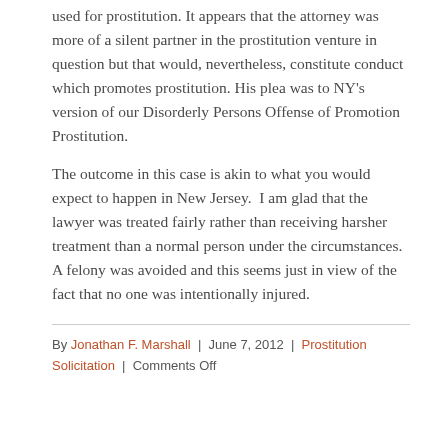used for prostitution. It appears that the attorney was more of a silent partner in the prostitution venture in question but that would, nevertheless, constitute conduct which promotes prostitution. His plea was to NY's version of our Disorderly Persons Offense of Promotion Prostitution.
The outcome in this case is akin to what you would expect to happen in New Jersey.  I am glad that the lawyer was treated fairly rather than receiving harsher treatment than a normal person under the circumstances.  A felony was avoided and this seems just in view of the fact that no one was intentionally injured.
By Jonathan F. Marshall | June 7, 2012 | Prostitution Solicitation | Comments Off